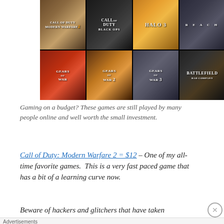[Figure (photo): Grid of 8 video game covers arranged in 2 rows of 4: Row 1: Call of Duty Modern Warfare 2, Call of Duty Black Ops, Halo 3, Halo Reach. Row 2: Gears of War, Gears of War 2, Gears of War 3, Battlefield Bad Company 2.]
Gaming on a budget? These games are still played by many people online and well worth the small investment.
Call of Duty: Modern Warfare 2 = $12 – One of my all-time favorite games.  This is a very fast paced game that has a bit of a learning curve now.
Beware of hackers and glitchers that have taken
Advertisements